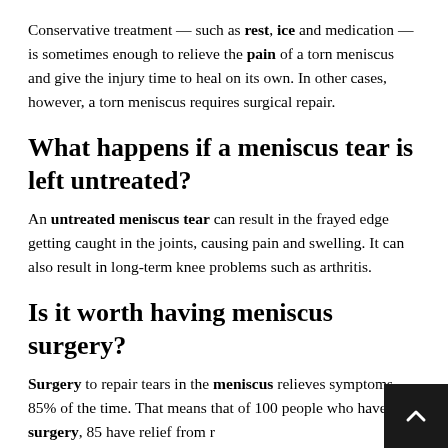Conservative treatment — such as rest, ice and medication — is sometimes enough to relieve the pain of a torn meniscus and give the injury time to heal on its own. In other cases, however, a torn meniscus requires surgical repair.
What happens if a meniscus tear is left untreated?
An untreated meniscus tear can result in the frayed edge getting caught in the joints, causing pain and swelling. It can also result in long-term knee problems such as arthritis.
Is it worth having meniscus surgery?
Surgery to repair tears in the meniscus relieves symptoms 85% of the time. That means that of 100 people who have this surgery, 85 have relief from r